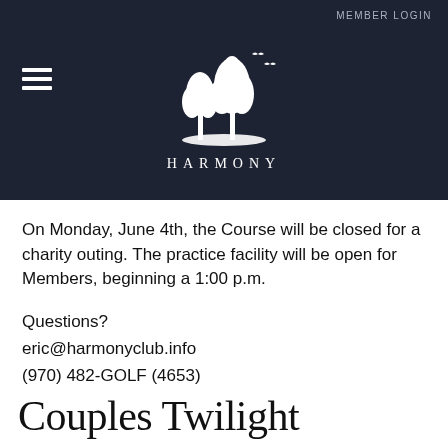MEMBER LOGIN
[Figure (logo): Harmony Club logo showing two trees with birds and the word HARMONY below]
On Monday, June 4th, the Course will be closed for a charity outing. The practice facility will be open for Members, beginning a 1:00 p.m.
Questions?
eric@harmonyclub.info
(970) 482-GOLF (4653)
Couples Twilight